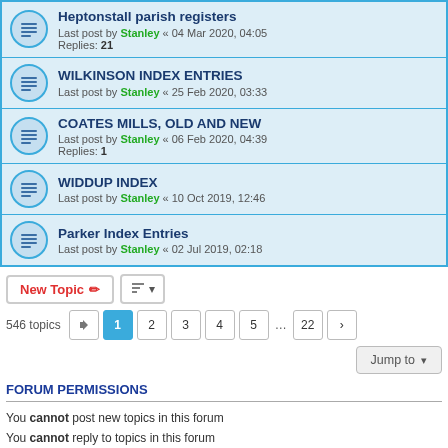Heptonstall parish registers — Last post by Stanley « 04 Mar 2020, 04:05 — Replies: 21
WILKINSON INDEX ENTRIES — Last post by Stanley « 25 Feb 2020, 03:33
COATES MILLS, OLD AND NEW — Last post by Stanley « 06 Feb 2020, 04:39 — Replies: 1
WIDDUP INDEX — Last post by Stanley « 10 Oct 2019, 12:46
Parker Index Entries — Last post by Stanley « 02 Jul 2019, 02:18
546 topics — Page navigation: 1 2 3 4 5 ... 22
Jump to
FORUM PERMISSIONS
You cannot post new topics in this forum
You cannot reply to topics in this forum
You cannot edit your posts in this forum
You cannot delete your posts in this forum
You cannot post attachments in this forum